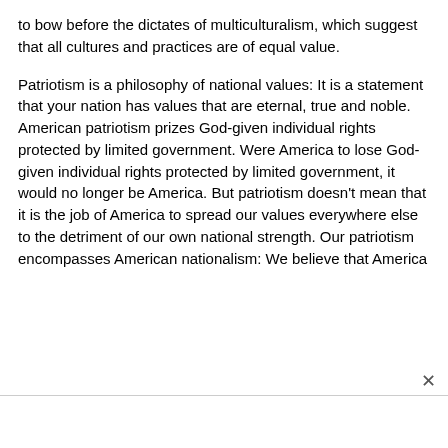to bow before the dictates of multiculturalism, which suggest that all cultures and practices are of equal value.
Patriotism is a philosophy of national values: It is a statement that your nation has values that are eternal, true and noble. American patriotism prizes God-given individual rights protected by limited government. Were America to lose God-given individual rights protected by limited government, it would no longer be America. But patriotism doesn't mean that it is the job of America to spread our values everywhere else to the detriment of our own national strength. Our patriotism encompasses American nationalism: We believe that America